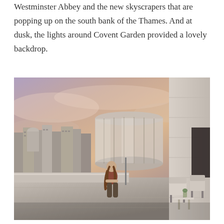Westminster Abbey and the new skyscrapers that are popping up on the south bank of the Thames. And at dusk, the lights around Covent Garden provided a lovely backdrop.
[Figure (photo): A woman with long hair sits on the ledge of a rooftop terrace, viewed from behind, looking out over a cityscape at dusk. Behind her is a cylindrical glass penthouse structure. The rooftop has modern furniture including chairs and a small table. The sky is dramatic with pink and purple hues. London city buildings are visible in the background on the left.]